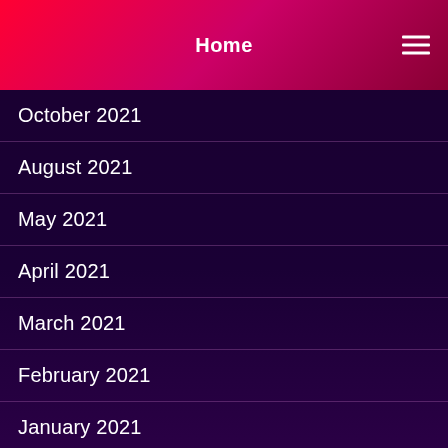Home
October 2021
August 2021
May 2021
April 2021
March 2021
February 2021
January 2021
December 2020
November 2020
October 2020